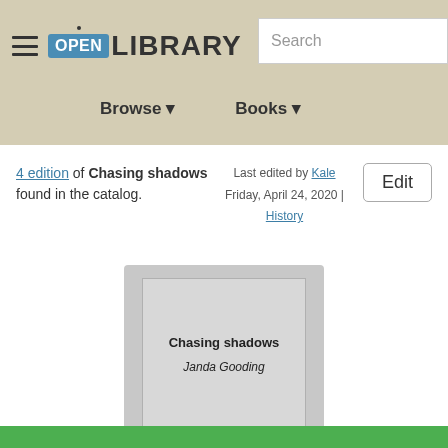OPEN LIBRARY — Browse | Books | Search
4 edition of Chasing shadows found in the catalog.
Last edited by Kale
Friday, April 24, 2020 | History
Edit
[Figure (illustration): Book cover placeholder showing 'Chasing shadows' by Janda Gooding in grey tones]
Chasing shadows
Janda Gooding